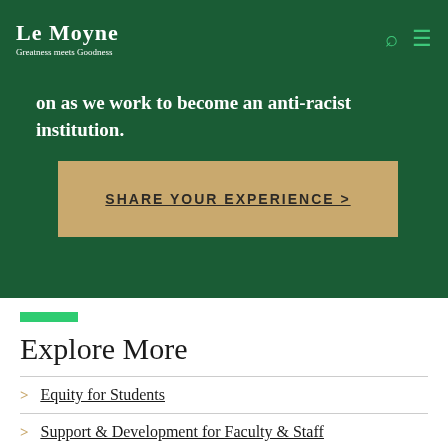Le Moyne — Greatness meets Goodness
on as we work to become an anti-racist institution.
SHARE YOUR EXPERIENCE >
Explore More
Equity for Students
Support & Development for Faculty & Staff
Restorative Justice Process